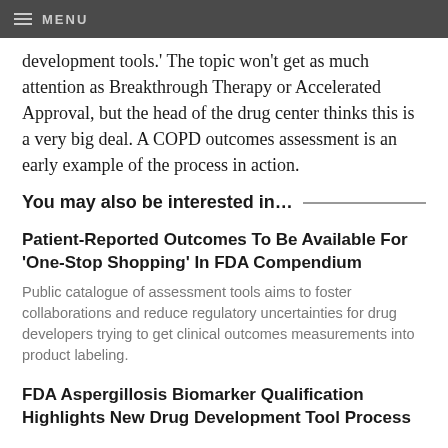MENU
development tools.' The topic won't get as much attention as Breakthrough Therapy or Accelerated Approval, but the head of the drug center thinks this is a very big deal. A COPD outcomes assessment is an early example of the process in action.
You may also be interested in…
Patient-Reported Outcomes To Be Available For 'One-Stop Shopping' In FDA Compendium
Public catalogue of assessment tools aims to foster collaborations and reduce regulatory uncertainties for drug developers trying to get clinical outcomes measurements into product labeling.
FDA Aspergillosis Biomarker Qualification Highlights New Drug Development Tool Process